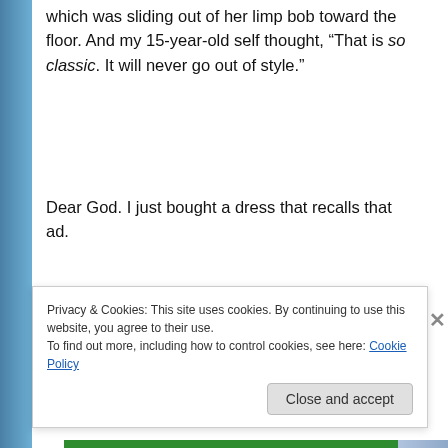which was sliding out of her limp bob toward the floor. And my 15-year-old self thought, “That is so classic. It will never go out of style.”
Dear God. I just bought a dress that recalls that ad.
Chris Rock had a theory about this. He said that we all have a soft spot for the music (or fashion, or whatever) that emerged when we were first getting laid. That exact explanation doesn’t apply
Privacy & Cookies: This site uses cookies. By continuing to use this website, you agree to their use.
To find out more, including how to control cookies, see here: Cookie Policy